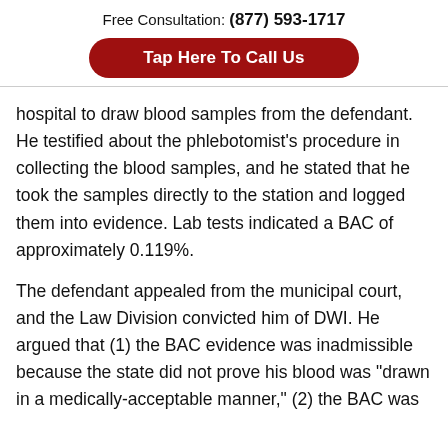Free Consultation: (877) 593-1717
Tap Here To Call Us
hospital to draw blood samples from the defendant. He testified about the phlebotomist’s procedure in collecting the blood samples, and he stated that he took the samples directly to the station and logged them into evidence. Lab tests indicated a BAC of approximately 0.119%.
The defendant appealed from the municipal court, and the Law Division convicted him of DWI. He argued that (1) the BAC evidence was inadmissible because the state did not prove his blood was “drawn in a medically-acceptable manner,” (2) the BAC was